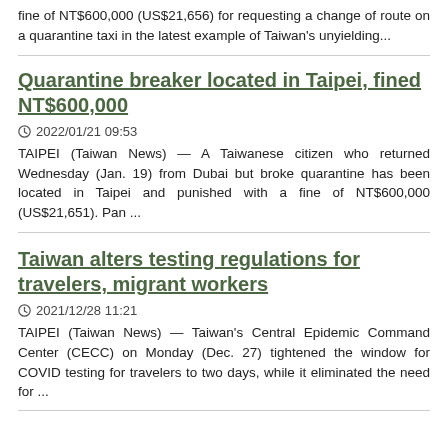fine of NT$600,000 (US$21,656) for requesting a change of route on a quarantine taxi in the latest example of Taiwan's unyielding...
Quarantine breaker located in Taipei, fined NT$600,000
2022/01/21 09:53
TAIPEI (Taiwan News) — A Taiwanese citizen who returned Wednesday (Jan. 19) from Dubai but broke quarantine has been located in Taipei and punished with a fine of NT$600,000 (US$21,651). Pan ...
Taiwan alters testing regulations for travelers, migrant workers
2021/12/28 11:21
TAIPEI (Taiwan News) — Taiwan's Central Epidemic Command Center (CECC) on Monday (Dec. 27) tightened the window for COVID testing for travelers to two days, while it eliminated the need for ...